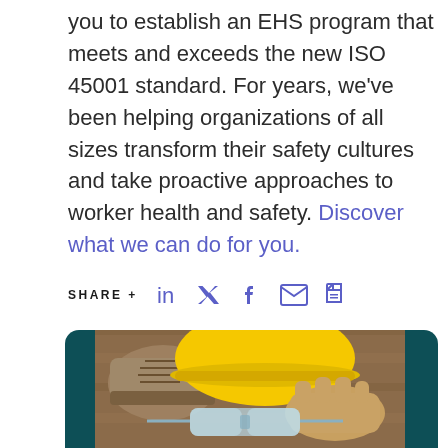At KPA, our team of experts can work alongside you to establish an EHS program that meets and exceeds the new ISO 45001 standard. For years, we've been helping organizations of all sizes transform their safety cultures and take proactive approaches to worker health and safety. Discover what we can do for you.
SHARE +
[Figure (photo): Photo of safety equipment: work boots, yellow hard hat, leather work gloves, and safety glasses arranged on a wooden surface, inside a dark teal rounded card.]